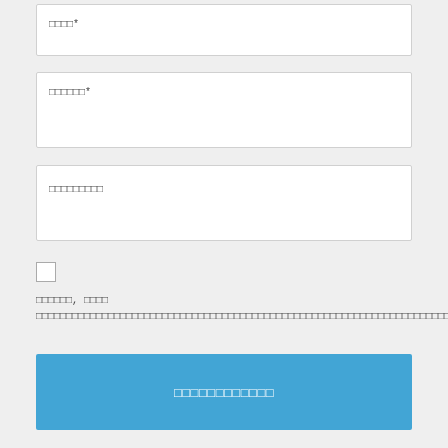[Figure (screenshot): Web form with three text input fields, a checkbox with label text, and a submit button. The text is rendered with garbled/placeholder characters (Unicode replacement boxes) suggesting a non-Latin script or encoding issue.]
□□□□*
□□□□□□*
□□□□□□□□□
□□□□□□, □□□□ □□□□□□□□□□□□□□□□□□□□□□□□□□□□□□□□□□□□□□□□□□□□□□□□□□□□□□□□□□□□□□□□□□□□□□□□□□□□□
□□□□□□□□□□□□□□□□□□□□□□□□□□□□□□□□□□□□□□□□
□□□□□□□□□□□□